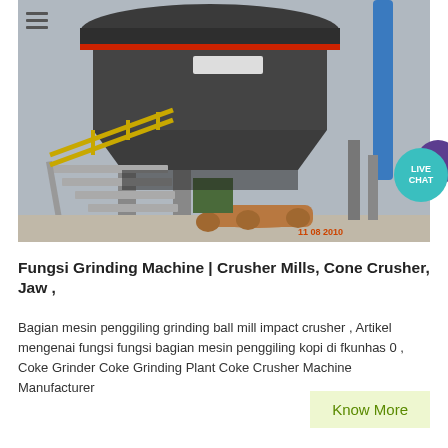[Figure (photo): Industrial grinding/cone crusher machine on a construction site, showing stairs, metal structure, pipes, and industrial equipment in an outdoor setting.]
Fungsi Grinding Machine | Crusher Mills, Cone Crusher, Jaw ,
Bagian mesin penggiling grinding ball mill impact crusher , Artikel mengenai fungsi fungsi bagian mesin penggiling kopi di fkunhas 0 , Coke Grinder Coke Grinding Plant Coke Crusher Machine Manufacturer